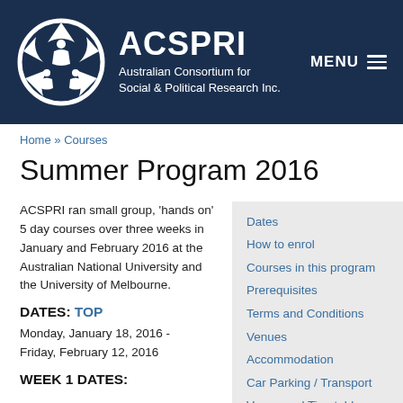[Figure (logo): ACSPRI logo - white geometric design with circular motif on dark navy background, alongside text 'ACSPRI' and 'Australian Consortium for Social & Political Research Inc.']
MENU
Home » Courses
Summer Program 2016
ACSPRI ran small group, 'hands on' 5 day courses over three weeks in January and February 2016 at the Australian National University and the University of Melbourne.
DATES: TOP
Monday, January 18, 2016 - Friday, February 12, 2016
WEEK 1 DATES:
Dates
How to enrol
Courses in this program
Prerequisites
Terms and Conditions
Venues
Accommodation
Car Parking / Transport
Venue and Timetable
Accommodation
Car Parking / Transport